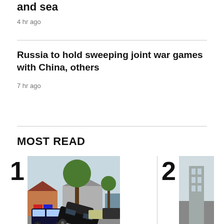and sea
4 hr ago
Russia to hold sweeping joint war games with China, others
7 hr ago
MOST READ
[Figure (photo): Overturned car at a suburban intersection with police car and trees visible, number 1 ranking]
[Figure (photo): Partially visible photo, number 2 ranking]